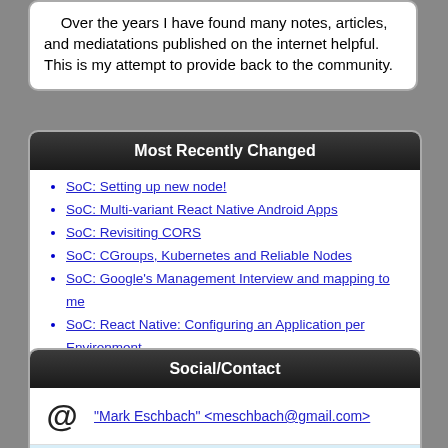Over the years I have found many notes, articles, and mediatations published on the internet helpful. This is my attempt to provide back to the community.
Most Recently Changed
SoC: Setting up new node!
SoC: Multi-variant React Native Android Apps
SoC: Revisiting CORS
SoC: CGroups, Kubernetes and Reliable Nodes
SoC: Google's Management Interview and mapping to me
SoC: React Native: Configuring an Application per Environment
SoC: k8s: Pipelines in Pipelines
SoC: k8s: Deploying CD on Kubernetes
SoC: CD on K8S building multi-architecture images
SoC: k8s: Renaming API server
Social/Contact
"Mark Eschbach" <meschbach@gmail.com>
meschbach